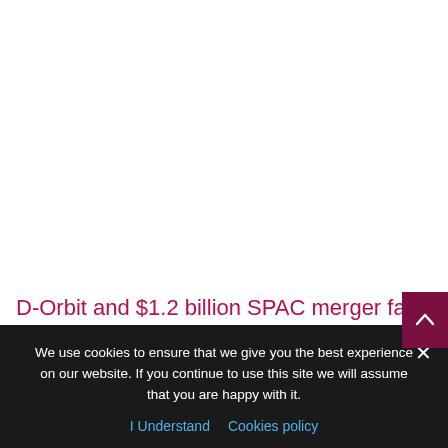D-Orbit and $1.2 billion SPAC merger falls apart
Italian satellite delivery company D-Orbit and Breeze
We use cookies to ensure that we give you the best experience on our website. If you continue to use this site we will assume that you are happy with it.
I Understand   Cookies policy